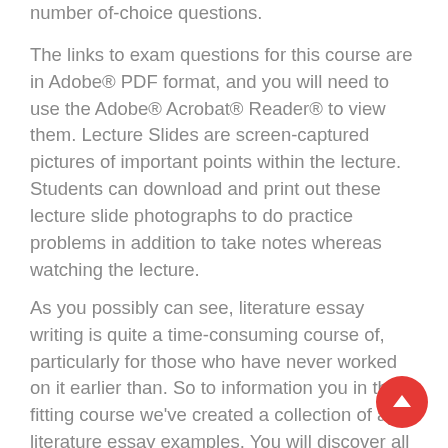number of-choice questions.
The links to exam questions for this course are in Adobe® PDF format, and you will need to use the Adobe® Acrobat® Reader® to view them. Lecture Slides are screen-captured pictures of important points within the lecture. Students can download and print out these lecture slide photographs to do practice problems in addition to take notes whereas watching the lecture.
As you possibly can see, literature essay writing is quite a time-consuming course of, particularly for those who have never worked on it earlier than. So to information you in the fitting course we've created a collection of ap literature essay examples. You will discover all of them beneath